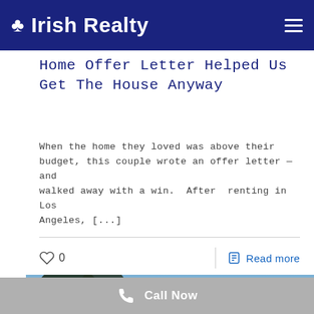Irish Realty
Home Offer Letter Helped Us Get The House Anyway
When the home they loved was above their budget, this couple wrote an offer letter — and walked away with a win. After renting in Los Angeles, [...]
0  Read more
[Figure (photo): Twilight exterior photo of a modern house with warm interior lights and large trees in the background. A 'Contact Us' badge overlay is visible in the bottom right corner.]
Call Now